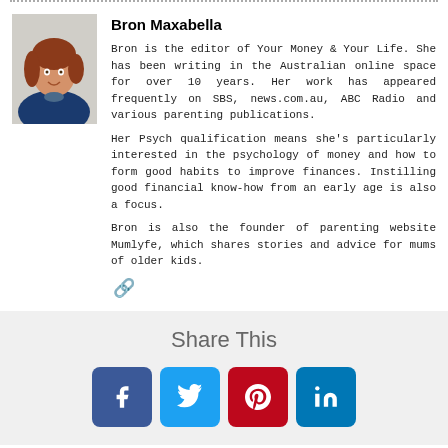[Figure (photo): Headshot of Bron Maxabella, a woman with shoulder-length auburn hair wearing a navy top and statement necklace]
Bron Maxabella
Bron is the editor of Your Money & Your Life. She has been writing in the Australian online space for over 10 years. Her work has appeared frequently on SBS, news.com.au, ABC Radio and various parenting publications.
Her Psych qualification means she's particularly interested in the psychology of money and how to form good habits to improve finances. Instilling good financial know-how from an early age is also a focus.
Bron is also the founder of parenting website Mumlyfe, which shares stories and advice for mums of older kids.
Share This
[Figure (infographic): Four social share buttons: Facebook (dark blue), Twitter (light blue), Pinterest (red), LinkedIn (blue)]